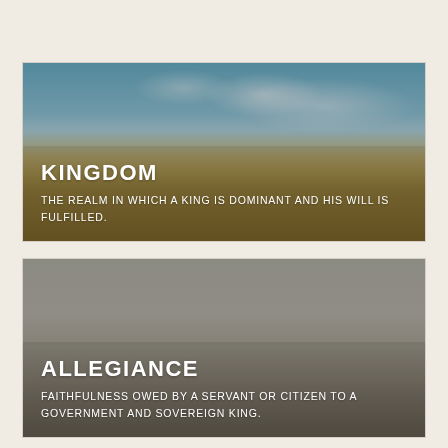[Figure (photo): Wheat field under blue sky with clouds, with text overlay reading KINGDOM and its definition]
KINGDOM
THE REALM IN WHICH A KING IS DOMINANT AND HIS WILL IS FULFILLED.
[Figure (photo): Muted grey-brown landscape with trees silhouette, with text overlay reading ALLEGIANCE and its definition]
ALLEGIANCE
FAITHFULNESS OWED BY A SERVANT OR CITIZEN TO A GOVERNMENT AND SOVEREIGN KING.